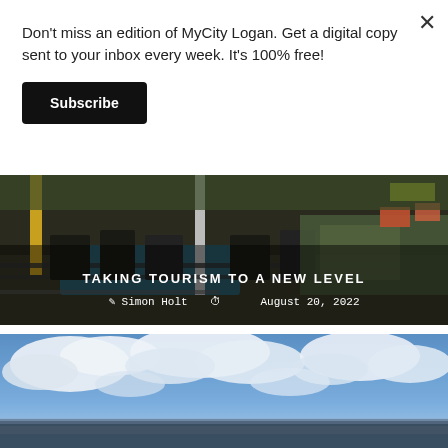Don't miss an edition of MyCity Logan. Get a digital copy sent to your inbox every week. It's 100% free!
Subscribe
[Figure (photo): Outdoor seating area with iron chairs and tables on a waterfront deck, with colorful background]
TAKING TOURISM TO A NEW LEVEL — Simon Holt — August 20, 2022
[Figure (photo): Wide landscape photo showing blue sky with white clouds and a distant cityscape/horizon below]